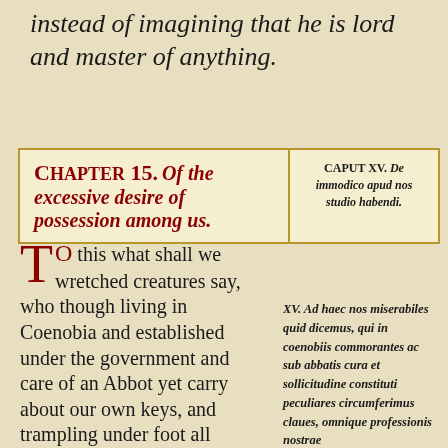instead of imagining that he is lord and master of anything.
CHAPTER 15. Of the excessive desire of possession among us. | CAPUT XV. De immodico apud nos studio habendi.
To this what shall we wretched creatures say, who though living in Coenobia and established under the government and care of an Abbot yet carry about our own keys, and trampling under foot all feeling of shame and disgrace which
XV. Ad haec nos miserabiles quid dicemus, qui in coenobiis commorantes ac sub abbatis cura et sollicitudine constituti peculiares circumferimus claues, omnique professionis nostrae